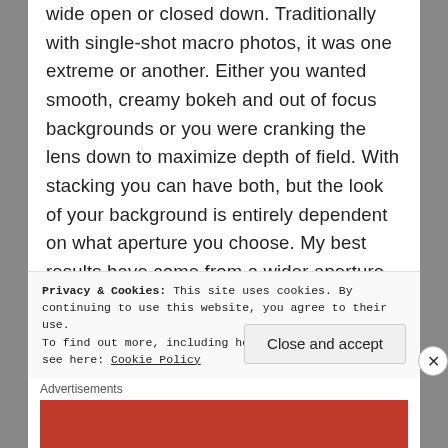wide open or closed down. Traditionally with single-shot macro photos, it was one extreme or another. Either you wanted smooth, creamy bokeh and out of focus backgrounds or you were cranking the lens down to maximize depth of field. With stacking you can have both, but the look of your background is entirely dependent on what aperture you choose. My best results have come from a wider aperture – somewhere between f4 and f8. The sweet spot for the backgrounds I want. Because I'm using many photos to get crisp detail, I don't have to close down and my backgrounds can be soft and
Privacy & Cookies: This site uses cookies. By continuing to use this website, you agree to their use.
To find out more, including how to control cookies, see here: Cookie Policy
Close and accept
Advertisements